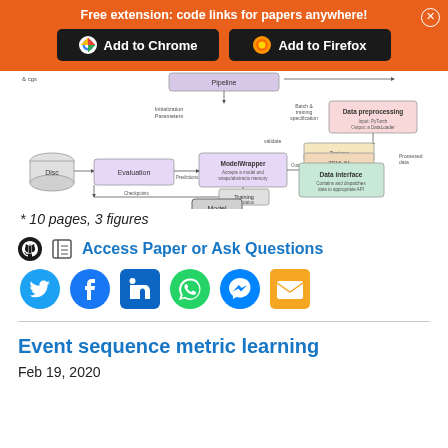Free extension: code links for papers anywhere! Add to Chrome  Add to Firefox
[Figure (flowchart): Architecture diagram showing pipeline components including Disc, Evaluation, ModelWrapper, Data preprocessing, Data interface, Trainer, and Model nodes with arrows indicating data flow and control connections.]
* 10 pages, 3 figures
Access Paper or Ask Questions
[Figure (infographic): Social media sharing icons: Twitter (blue bird), Facebook (blue circle), LinkedIn (blue square), WhatsApp (green circle), Messenger (blue circle), Email (orange envelope)]
Event sequence metric learning
Feb 19, 2020